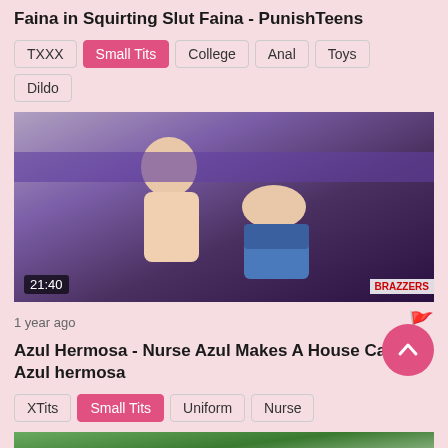Faina in Squirting Slut Faina - PunishTeens
TXXX
Small Tits
College
Anal
Toys
Dildo
[Figure (photo): Video thumbnail showing two people on a purple couch, timestamp 21:40, Brazzers logo]
1 year ago
Azul Hermosa - Nurse Azul Makes A House Call - Azul hermosa
XTits
Small Tits
Uniform
Nurse
[Figure (photo): Partial video thumbnail showing outdoor scene]